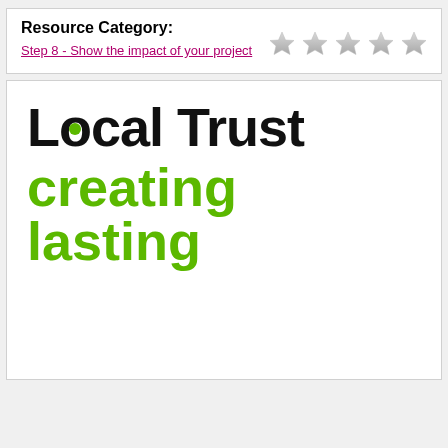Resource Category:
Step 8 - Show the impact of your project
[Figure (other): Five empty/unfilled star rating icons arranged in a row]
[Figure (logo): Local Trust logo with black text 'Local Trust' (green dot in the 'o' of Local) and green text 'creating lasting' below]